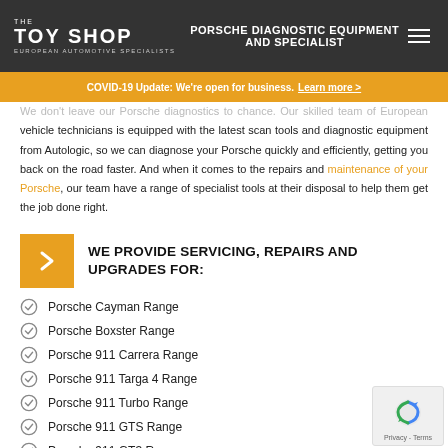PORSCHE DIAGNOSTIC EQUIPMENT AND SPECIALIST | THE TOY SHOP EUROPEAN AUTOMOTIVE SPECIALISTS
COVID-19 Update: We're open for business. Learn more >
We don't leave our Porsche diagnostics to chance. Our skilled team of European vehicle technicians is equipped with the latest scan tools and diagnostic equipment from Autologic, so we can diagnose your Porsche quickly and efficiently, getting you back on the road faster. And when it comes to the repairs and maintenance of your Porsche, our team have a range of specialist tools at their disposal to help them get the job done right.
WE PROVIDE SERVICING, REPAIRS AND UPGRADES FOR:
Porsche Cayman Range
Porsche Boxster Range
Porsche 911 Carrera Range
Porsche 911 Targa 4 Range
Porsche 911 Turbo Range
Porsche 911 GTS Range
Porsche 911 GT3 Range